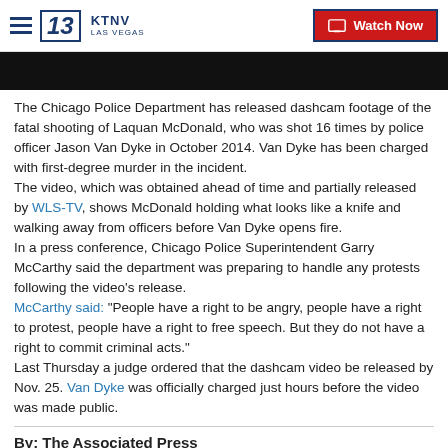KTNV LAS VEGAS | Watch Now
[Figure (screenshot): Black video thumbnail/player area]
The Chicago Police Department has released dashcam footage of the fatal shooting of Laquan McDonald, who was shot 16 times by police officer Jason Van Dyke in October 2014. Van Dyke has been charged with first-degree murder in the incident.
The video, which was obtained ahead of time and partially released by WLS-TV, shows McDonald holding what looks like a knife and walking away from officers before Van Dyke opens fire.
In a press conference, Chicago Police Superintendent Garry McCarthy said the department was preparing to handle any protests following the video's release.
McCarthy said: "People have a right to be angry, people have a right to protest, people have a right to free speech. But they do not have a right to commit criminal acts."
Last Thursday a judge ordered that the dashcam video be released by Nov. 25. Van Dyke was officially charged just hours before the video was made public.
By: The Associated Press
Posted at 7:58 PM, Nov 25, 2015 and last updated 3:58 AM, Nov 26, 2015